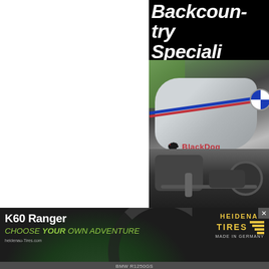Backcountry Special
[Figure (photo): BMW motorcycle with Black Dog Cycle Works branding on the tank, silver and blue/red striped fairing, shot from close angle showing tank and engine]
[Figure (photo): Advertisement for Heidenau K60 Ranger tire with green tinted tire/wheel background. Text: K60 Ranger, CHOOSE YOUR OWN ADVENTURE, heidenau-Tires.com, Heidenau Tires Made in Germany. With close X button.]
BMW R1250GS